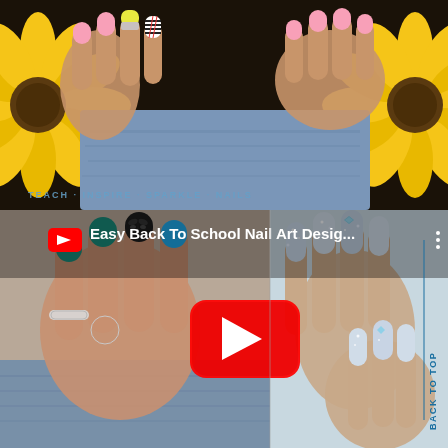[Figure (photo): Close-up photo of hands with colorful nail art (pink, yellow, black stripes, red accents) resting on denim fabric, with sunflowers in the background. Watermark reads 'TEACH · INSPIRE · SPARKLE · NAILS'.]
[Figure (screenshot): YouTube video thumbnail composite showing 'Easy Back To School Nail Art Desig...' with a red YouTube play button. Left side shows a hand with teal/black/blue nail art and silver rings. Right side shows hands with glitter and blue gem nail art. 'BACK TO TOP' text visible vertically on right edge.]